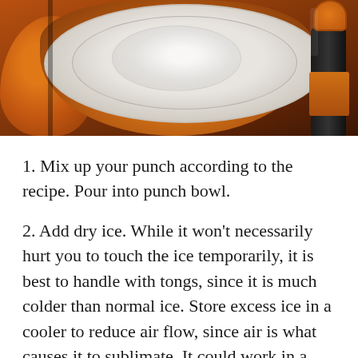[Figure (photo): A punch bowl sitting inside a carved pumpkin, with a dark bottle visible on the right side. The scene is Halloween-themed with orange and dark tones.]
1. Mix up your punch according to the recipe. Pour into punch bowl.
2. Add dry ice. While it won’t necessarily hurt you to touch the ice temporarily, it is best to handle with tongs, since it is much colder than normal ice. Store excess ice in a cooler to reduce air flow, since air is what causes it to sublimate. It could work in a deep freeze, but most fridge freezers flow air to the fridge, which will